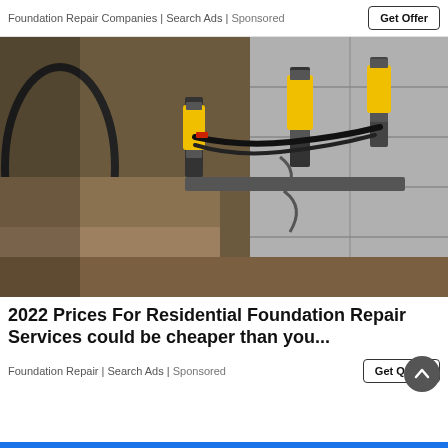Foundation Repair Companies | Search Ads | Sponsored
[Figure (photo): Foundation repair equipment: hydraulic jacks or piers with yellow cylinders attached to a concrete block foundation wall, with dirt excavation visible and black cables/hoses running along the wall.]
2022 Prices For Residential Foundation Repair Services could be cheaper than you...
Foundation Repair | Search Ads | Sponsored